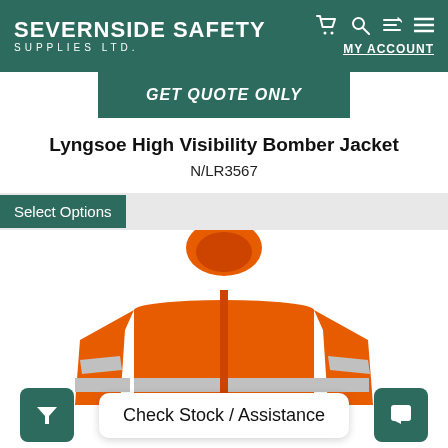SEVERNSIDE SAFETY SUPPLIES LTD. MY ACCOUNT
GET QUOTE ONLY
Lyngsoe High Visibility Bomber Jacket
N/LR3567
Select Options
[Figure (photo): Orange high visibility bomber jacket with reflective silver tape strips across chest and arms, displayed on a white background.]
Check Stock / Assistance